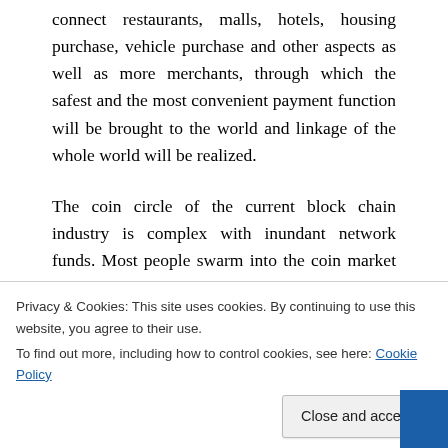connect restaurants, malls, hotels, housing purchase, vehicle purchase and other aspects as well as more merchants, through which the safest and the most convenient payment function will be brought to the world and linkage of the whole world will be realized.
The coin circle of the current block chain industry is complex with inundant network funds. Most people swarm into the coin market and attempt to become rich overnight because they believe that there are great prospects of
Privacy & Cookies: This site uses cookies. By continuing to use this website, you agree to their use.
To find out more, including how to control cookies, see here: Cookie Policy
Close and accept